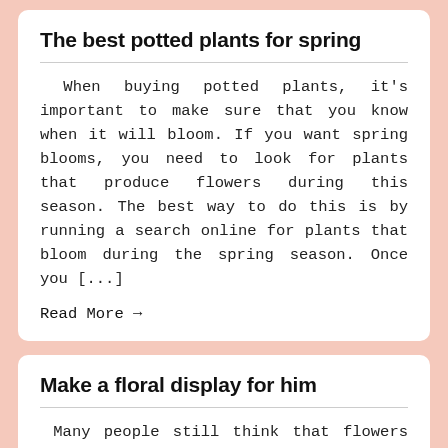The best potted plants for spring
When buying potted plants, it's important to make sure that you know when it will bloom. If you want spring blooms, you need to look for plants that produce flowers during this season. The best way to do this is by running a search online for plants that bloom during the spring season. Once you [...]
Read More →
Make a floral display for him
Many people still think that flowers are strictly for women. Times have changed and men can also enjoy the benefits and joy of receiving a fresh arrangement. The key is to use the right flowers and colours. Once you have a few basic guidelines